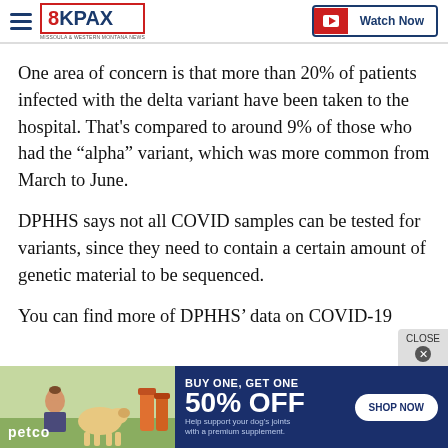8KPAX — Watch Now
One area of concern is that more than 20% of patients infected with the delta variant have been taken to the hospital. That's compared to around 9% of those who had the “alpha” variant, which was more common from March to June.
DPHHS says not all COVID samples can be tested for variants, since they need to contain a certain amount of genetic material to be sequenced.
You can find more of DPHHS’ data on COVID-19
[Figure (photo): Petco advertisement banner: BUY ONE, GET ONE 50% OFF on dog joint supplements. Shows woman with golden retriever dog and supplement bottles. SHOP NOW button on right.]